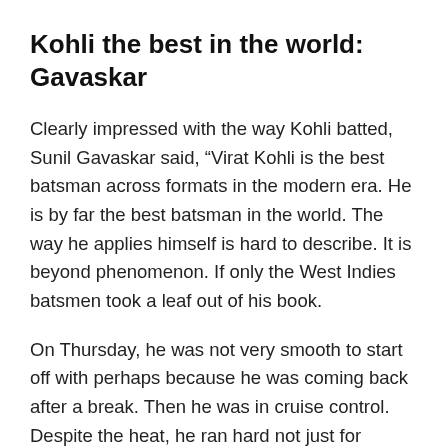Kohli the best in the world: Gavaskar
Clearly impressed with the way Kohli batted, Sunil Gavaskar said, “Virat Kohli is the best batsman across formats in the modern era. He is by far the best batsman in the world. The way he applies himself is hard to describe. It is beyond phenomenon. If only the West Indies batsmen took a leaf out of his book.
On Thursday, he was not very smooth to start off with perhaps because he was coming back after a break. Then he was in cruise control. Despite the heat, he ran hard not just for himself but also for his batting partner at the other end,” Gavaskar was quoted as